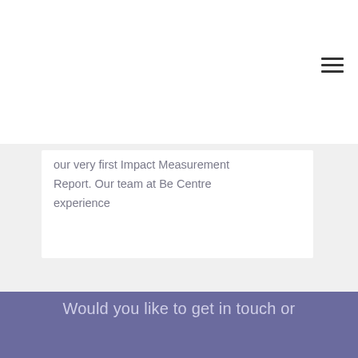[Figure (other): Hamburger menu icon (three horizontal lines) in the top right corner]
our very first Impact Measurement Report. Our team at Be Centre experience
Would you like to get in touch or